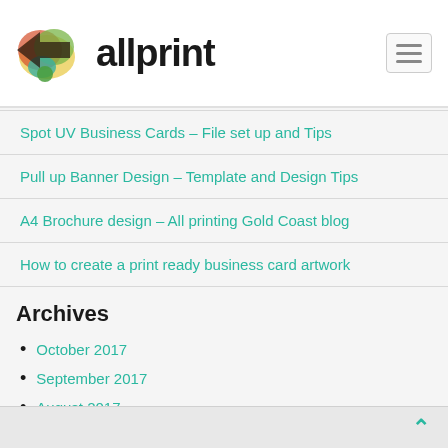[Figure (logo): Allprint logo with colorful abstract mark and bold 'allprint' text]
Spot UV Business Cards – File set up and Tips
Pull up Banner Design – Template and Design Tips
A4 Brochure design – All printing Gold Coast blog
How to create a print ready business card artwork
Archives
October 2017
September 2017
August 2017
July 2017
June 2016